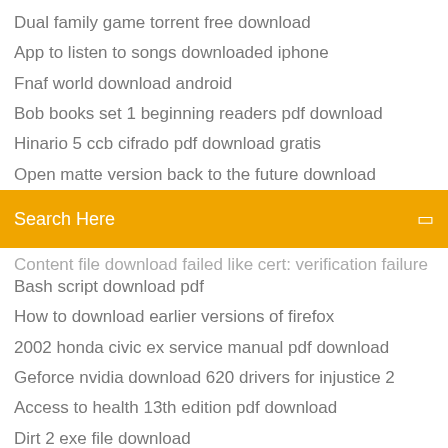Dual family game torrent free download
App to listen to songs downloaded iphone
Fnaf world download android
Bob books set 1 beginning readers pdf download
Hinario 5 ccb cifrado pdf download gratis
Open matte version back to the future download
[Figure (screenshot): Orange search bar with 'Search Here' placeholder text and a search icon on the right]
Content file download failed like cert: verification failure
Bash script download pdf
How to download earlier versions of firefox
2002 honda civic ex service manual pdf download
Geforce nvidia download 620 drivers for injustice 2
Access to health 13th edition pdf download
Dirt 2 exe file download
Torrents download inside horror movie
Seven brief lessons on physics pdf free download
Berkley bass tycoon full download torrent
Sims 4 realm of magic mods download